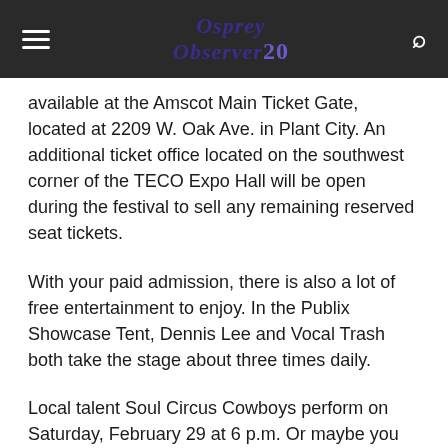Osprey Observer 20
available at the Amscot Main Ticket Gate, located at 2209 W. Oak Ave. in Plant City. An additional ticket office located on the southwest corner of the TECO Expo Hall will be open during the festival to sell any remaining reserved seat tickets.
With your paid admission, there is also a lot of free entertainment to enjoy. In the Publix Showcase Tent, Dennis Lee and Vocal Trash both take the stage about three times daily.
Local talent Soul Circus Cowboys perform on Saturday, February 29 at 6 p.m. Or maybe you love to cook; if so, catch the Publix Aprons Cooking Show on Sunday, March 1 at 6 p.m.